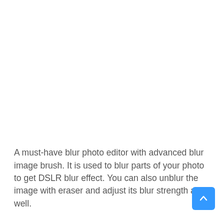A must-have blur photo editor with advanced blur image brush. It is used to blur parts of your photo to get DSLR blur effect. You can also unblur the image with eraser and adjust its blur strength as well.